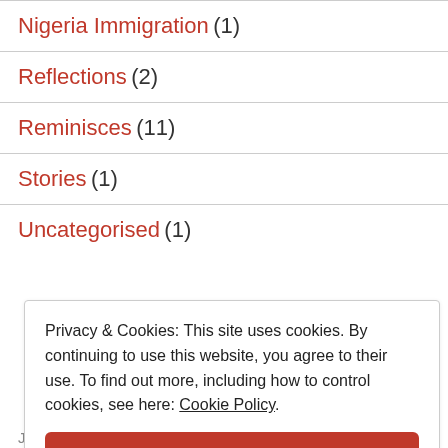Nigeria Immigration (1)
Reflections (2)
Reminisces (11)
Stories (1)
Uncategorised (1)
Privacy & Cookies: This site uses cookies. By continuing to use this website, you agree to their use. To find out more, including how to control cookies, see here: Cookie Policy
Close and accept
Join 66 other followers